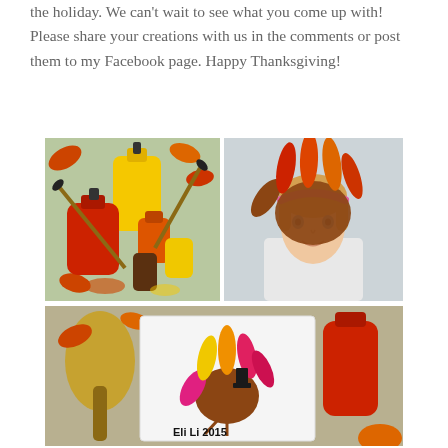the holiday. We can't wait to see what you come up with! Please share your creations with us in the comments or post them to my Facebook page. Happy Thanksgiving!
[Figure (photo): Photo of colorful paint bottles and brushes on a table with autumn leaves — yellow, red, orange paint containers for a craft project]
[Figure (photo): Photo of a young blonde girl with a pink headband holding up her paint-covered hand toward the camera — fingers painted in red, orange, and brown]
[Figure (photo): Photo of a handprint turkey craft on white canvas — brown palm print as turkey body, colorful finger-painted feathers in yellow, orange, and pink, with text 'Eli Li 2015' at the bottom, surrounded by fall decorations and red paint bottles]